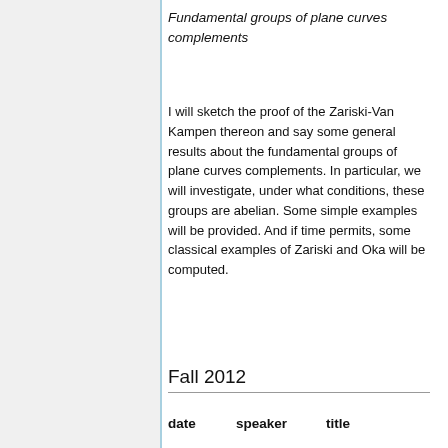Fundamental groups of plane curves complements
I will sketch the proof of the Zariski-Van Kampen thereon and say some general results about the fundamental groups of plane curves complements. In particular, we will investigate, under what conditions, these groups are abelian. Some simple examples will be provided. And if time permits, some classical examples of Zariski and Oka will be computed.
Fall 2012
| date | speaker | title |
| --- | --- | --- |